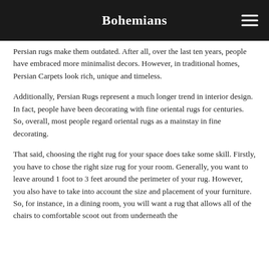Bohemians
Persian rugs make them outdated. After all, over the last ten years, people have embraced more minimalist decors. However, in traditional homes, Persian Carpets look rich, unique and timeless.
Additionally, Persian Rugs represent a much longer trend in interior design. In fact, people have been decorating with fine oriental rugs for centuries. So, overall, most people regard oriental rugs as a mainstay in fine decorating.
That said, choosing the right rug for your space does take some skill. Firstly, you have to chose the right size rug for your room. Generally, you want to leave around 1 foot to 3 feet around the perimeter of your rug. However, you also have to take into account the size and placement of your furniture. So, for instance, in a dining room, you will want a rug that allows all of the chairs to comfortable scoot out from underneath the